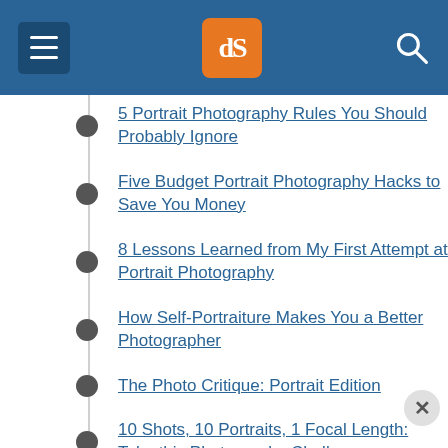dPS navigation header with hamburger menu, dPS logo, and search icon
5 Portrait Photography Rules You Should Probably Ignore
Five Budget Portrait Photography Hacks to Save You Money
8 Lessons Learned from My First Attempt at Portrait Photography
How Self-Portraiture Makes You a Better Photographer
The Photo Critique: Portrait Edition
10 Shots, 10 Portraits, 1 Focal Length: Take this Photography Challenge